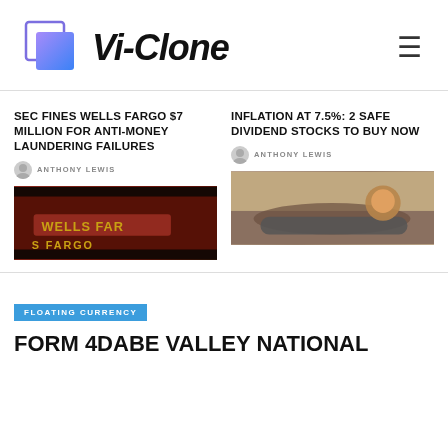[Figure (logo): Vi-Clone logo with gradient blue square icon and bold italic text 'Vi-Clone']
SEC FINES WELLS FARGO $7 MILLION FOR ANTI-MONEY LAUNDERING FAILURES
ANTHONY LEWIS
[Figure (photo): Wells Fargo bank signage photo]
INFLATION AT 7.5%: 2 SAFE DIVIDEND STOCKS TO BUY NOW
ANTHONY LEWIS
[Figure (photo): Worker welding a pipeline in desert landscape]
FLOATING CURRENCY
FORM 4DABE VALLEY NATIONAL